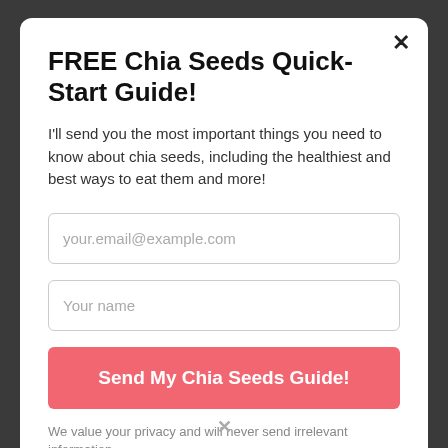FREE Chia Seeds Quick-Start Guide!
I'll send you the most important things you need to know about chia seeds, including the healthiest and best ways to eat them and more!
your.email@example.com
Your name
Send My Chia Seeds Guide!
We value your privacy and will never send irrelevant information.